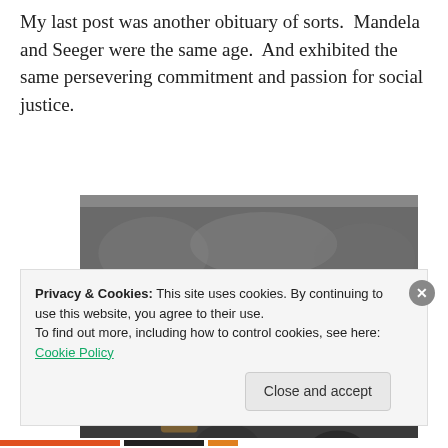My last post was another obituary of sorts. Mandela and Seeger were the same age. And exhibited the same persevering commitment and passion for social justice.
[Figure (photo): Black and white photograph of a man in military uniform singing or performing with a guitar, surrounded by a crowd of people in what appears to be an indoor gathering.]
Privacy & Cookies: This site uses cookies. By continuing to use this website, you agree to their use. To find out more, including how to control cookies, see here: Cookie Policy